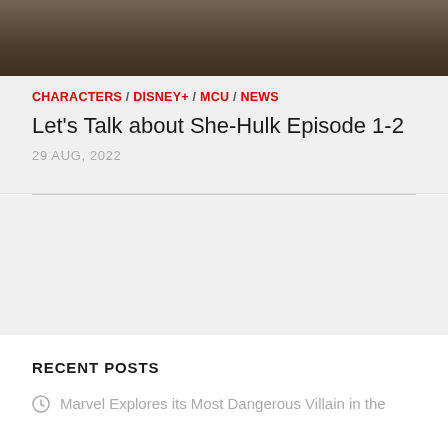[Figure (photo): Dark atmospheric photo at top of page, showing a dimly lit scene with dark tones]
CHARACTERS / DISNEY+ / MCU / NEWS
Let's Talk about She-Hulk Episode 1-2
29 AUG, 2022
RECENT POSTS
Marvel Explores its Most Dangerous Villain in the